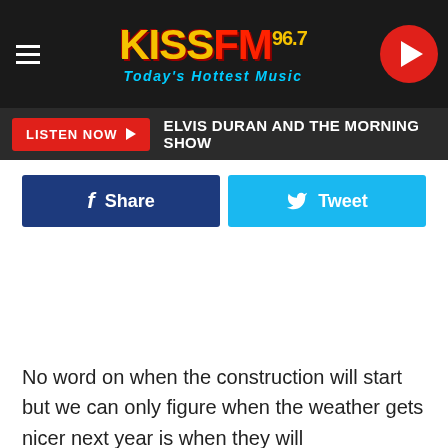[Figure (logo): KISS FM 96.7 radio station logo with tagline 'Today's Hottest Music' on dark background with hamburger menu and play button]
LISTEN NOW ▶ ELVIS DURAN AND THE MORNING SHOW
[Figure (screenshot): Facebook Share and Twitter Tweet buttons]
No word on when the construction will start but we can only figure when the weather gets nicer next year is when they will